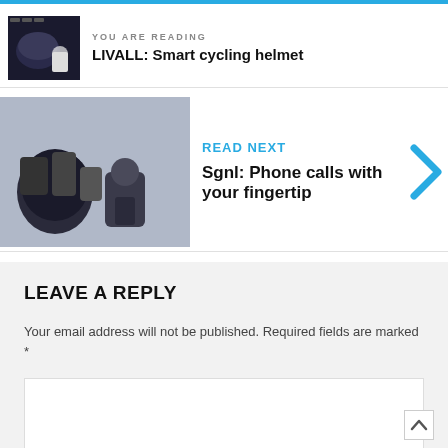YOU ARE READING
LIVALL: Smart cycling helmet
READ NEXT
Sgnl: Phone calls with your fingertip
LEAVE A REPLY
Your email address will not be published. Required fields are marked *